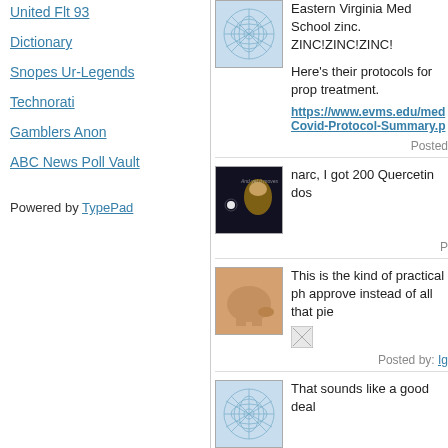United Flt 93
Dictionary
Snopes Ur-Legends
Technorati
Gamblers Anon
ABC News Poll Vault
Powered by TypePad
Eastern Virginia Med School zinc. ZINC!ZINC!ZINC!
Here's their protocols for prop treatment.
https://www.evms.edu/med Covid-Protocol-Summary.p
Posted
[Figure (photo): Network/web pattern avatar image]
narc, I got 200 Quercetin dos
P
[Figure (photo): Portrait of Galileo or similar historical figure against dark background with light]
[Figure (photo): Body/skin image avatar]
This is the kind of practical ph approve instead of all that pie
Posted by: Ig
[Figure (photo): Network/web pattern avatar image (blue)]
That sounds like a good deal